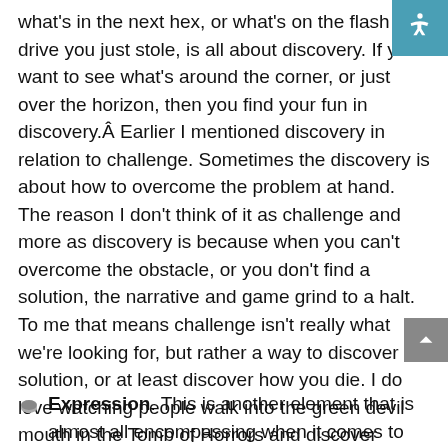what's in the next hex, or what's on the flash drive you just stole, is all about discovery. If you want to see what's around the corner, or just over the horizon, then you find your fun in discovery.Â Earlier I mentioned discovery in relation to challenge. Sometimes the discovery is about how to overcome the problem at hand. The reason I don't think of it as challenge and more as discovery is because when you can't overcome the obstacle, or you don't find a solution, the narrative and game grind to a halt. To me that means challenge isn't really what we're looking for, but rather a way to discover a solution, or at least discover how you die. I do love watching people walk into the green devil mouth in the Tomb of Horrors and discover they're just dead.
Expression. This is another element that is almost all encompassing when it comes to RPGs.